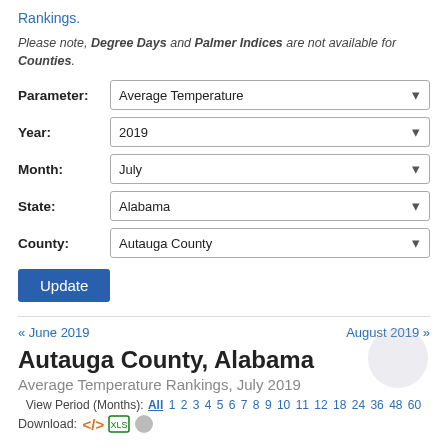Rankings.
Please note, Degree Days and Palmer Indices are not available for Counties.
Parameter: Average Temperature
Year: 2019
Month: July
State: Alabama
County: Autauga County
Update
« June 2019
August 2019 »
Autauga County, Alabama
Average Temperature Rankings, July 2019
View Period (Months): All 1 2 3 4 5 6 7 8 9 10 11 12 18 24 36 48 60
Download: